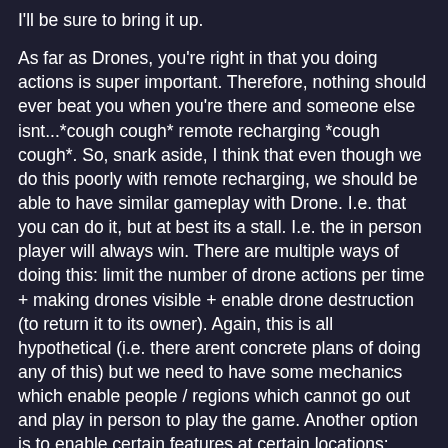I'll be sure to bring it up.
As far as Drones, you're right in that you doing actions is super important. Therefore, nothing should ever beat you when you're there and someone else isnt...*cough cough* remote recharging *cough cough*. So, snark aside, I think that even though we do this poorly with remote recharging, we should be able to have similar gameplay with Drone. I.e. that you can do it, but at best its a stall. I.e. the in person player will always win. There are multiple ways of doing this: limit the number of drone actions per time + making drones visible + enable drone destruction (to return it to its owner). Again, this is all hypothetical (i.e. there arent concrete plans of doing any of this) but we need to have some mechanics which enable people / regions which cannot go out and play in person to play the game. Another option is to enable certain features at certain locations: imagine you have a drone at a battle beacon for example (remote VFS anyone?)
That being said, the drone example wasnt meant to state "here is a feature we will ship," but rather, "not being able to declare that you want to defend a specific portal limits our ability to create new gameplay."